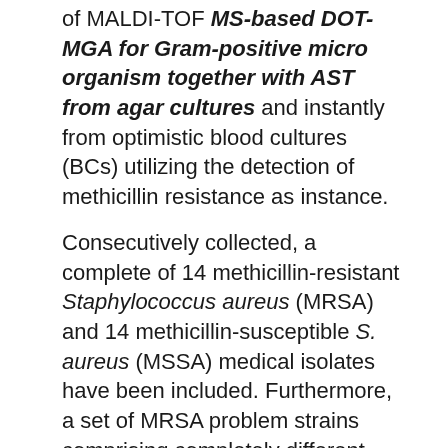of MALDI-TOF MS-based DOT-MGA for Gram-positive micro organism together with AST from agar cultures and instantly from optimistic blood cultures (BCs) utilizing the detection of methicillin resistance as instance.
Consecutively collected, a complete of 14 methicillin-resistant Staphylococcus aureus (MRSA) and 14 methicillin-susceptible S. aureus (MSSA) medical isolates have been included. Furthermore, a set of MRSA problem strains comprising completely different SCCmec sorts, mec genes, and spa sorts was examined.